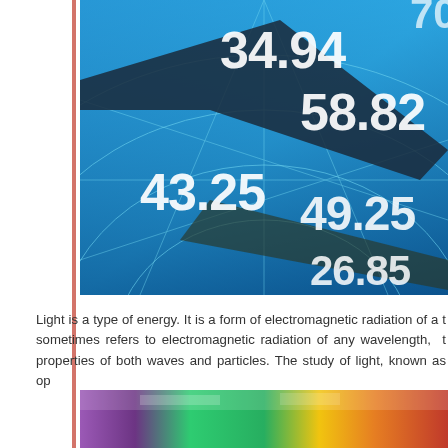[Figure (photo): A radar or stock chart display showing numeric values (34.94, 58.82, 43.25, 49.25, 26.85) on a blue grid background with arc lines and a dark arrow/pointer. Numbers appear in a large white font overlaid on the blue chart.]
Light is a type of energy. It is a form of electromagnetic radiation of a t... sometimes refers to electromagnetic radiation of any wavelength, t... properties of both waves and particles. The study of light, known as op...
[Figure (photo): Bottom portion of an image showing a colorful spectrum or light display with purple, green, and other colors visible along the bottom edge of the page.]